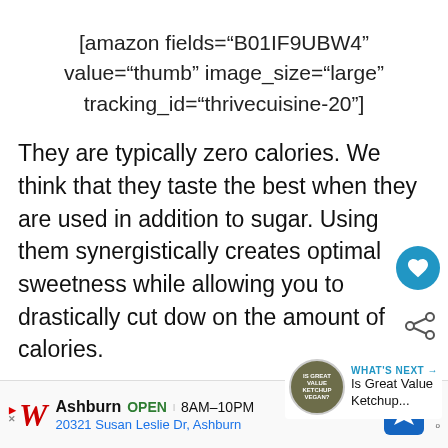[amazon fields="B01IF9UBW4" value="thumb" image_size="large" tracking_id="thrivecuisine-20"]
They are typically zero calories. We think that they taste the best when they are used in addition to sugar. Using them synergistically creates optimal sweetness while allowing you to drastically cut down on the amount of calories.
[Figure (other): Blue circular heart/favorite button and share button overlaid on page content. Also a 'WHAT'S NEXT' widget with a round image labeled 'IS GREAT VALUE KETCHUP VEGAN?' and text 'Is Great Value Ketchup...']
[Figure (other): Walgreens advertisement banner showing: Ashburn OPEN 8AM-10PM, 20321 Susan Leslie Dr, Ashburn, with Walgreens logo, navigation button, and more options icon]